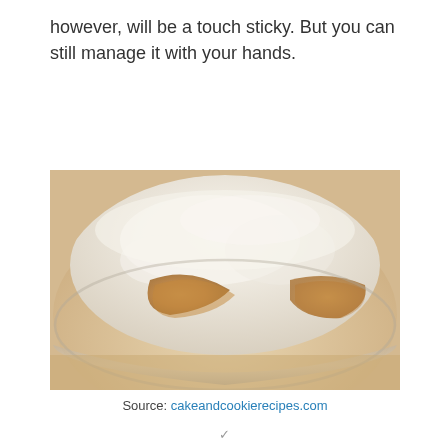however, will be a touch sticky. But you can still manage it with your hands.
[Figure (photo): Close-up photo of a bowl containing flour with brown sugar or similar ingredient mixed in, showing the texture of the dry ingredients in a glass mixing bowl.]
Source: cakeandcookierecipes.com